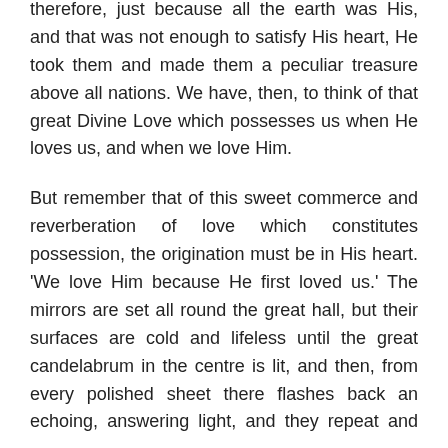therefore, just because all the earth was His, and that was not enough to satisfy His heart, He took them and made them a peculiar treasure above all nations. We have, then, to think of that great Divine Love which possesses us when He loves us, and when we love Him.
But remember that of this sweet commerce and reverberation of love which constitutes possession, the origination must be in His heart. 'We love Him because He first loved us.' The mirrors are set all round the great hall, but their surfaces are cold and lifeless until the great candelabrum in the centre is lit, and then, from every polished sheet there flashes back an echoing, answering light, and they repeat and repeat, until you scarce can tell which is the original and which is the reflection. But quench the centre, light, and the daughter-radiances vanish into darkness. The love on